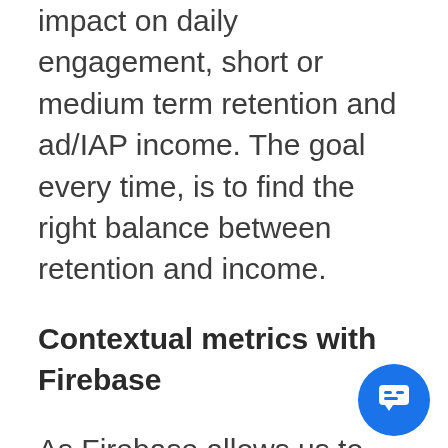impact on daily engagement, short or medium term retention and ad/IAP income. The goal every time, is to find the right balance between retention and income.
Contextual metrics with Firebase
As Firebase allows us to add custom event measurement, we add contextual metrics. For instance, when we performed A/B tests on invite rewards, we logged invitations sent and opened invitations. An interesting take away from data collected is that a high reward case did not generate